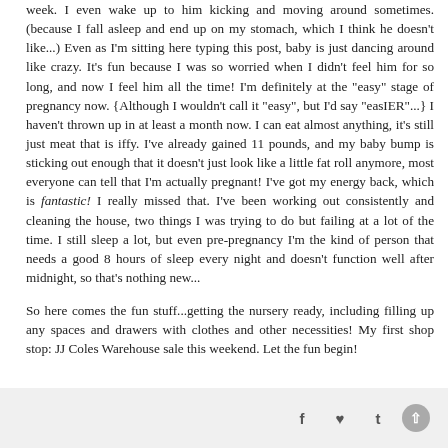week. I even wake up to him kicking and moving around sometimes. (because I fall asleep and end up on my stomach, which I think he doesn't like...) Even as I'm sitting here typing this post, baby is just dancing around like crazy. It's fun because I was so worried when I didn't feel him for so long, and now I feel him all the time! I'm definitely at the "easy" stage of pregnancy now. {Although I wouldn't call it "easy", but I'd say "easIER"...} I haven't thrown up in at least a month now. I can eat almost anything, it's still just meat that is iffy. I've already gained 11 pounds, and my baby bump is sticking out enough that it doesn't just look like a little fat roll anymore, most everyone can tell that I'm actually pregnant! I've got my energy back, which is fantastic! I really missed that. I've been working out consistently and cleaning the house, two things I was trying to do but failing at a lot of the time. I still sleep a lot, but even pre-pregnancy I'm the kind of person that needs a good 8 hours of sleep every night and doesn't function well after midnight, so that's nothing new...
So here comes the fun stuff...getting the nursery ready, including filling up any spaces and drawers with clothes and other necessities! My first shop stop: JJ Coles Warehouse sale this weekend. Let the fun begin!
f y t [circle arrow]